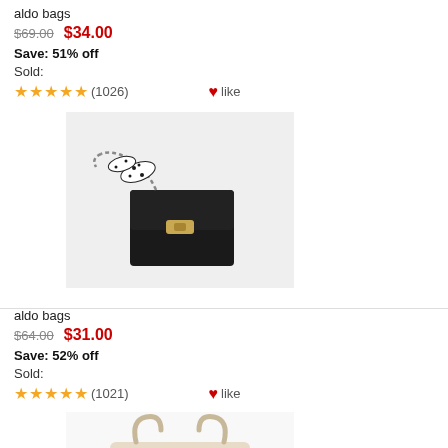aldo bags
$69.00  $34.00
Save: 51% off
Sold:
★★★★★ (1026)  ♥like
[Figure (photo): Black structured crossbody bag with chain and spotted scarf handle on light grey background]
aldo bags
$64.00  $31.00
Save: 52% off
Sold:
★★★★★ (1021)  ♥like
[Figure (photo): Beige/cream structured handbag with top handles on white background, partially visible]